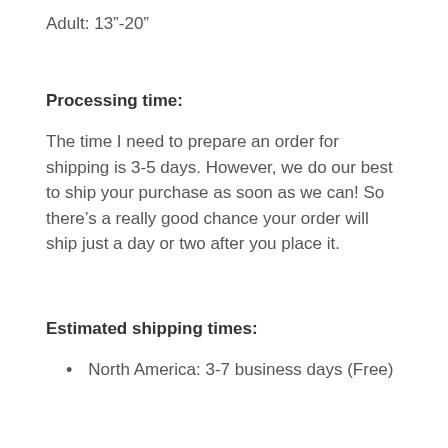Adult: 13"-20"
Processing time:
The time I need to prepare an order for shipping is 3-5 days. However, we do our best to ship your purchase as soon as we can! So there’s a really good chance your order will ship just a day or two after you place it.
Estimated shipping times:
North America: 3-7 business days (Free)